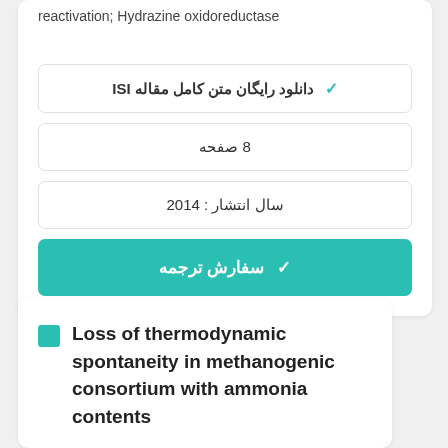reactivation; Hydrazine oxidoreductase
✔ دانلود رایگان متن کامل مقاله ISI
8 صفحه
سال انتشار : 2014
✔ سفارش ترجمه
Loss of thermodynamic spontaneity in methanogenic consortium with ammonia contents